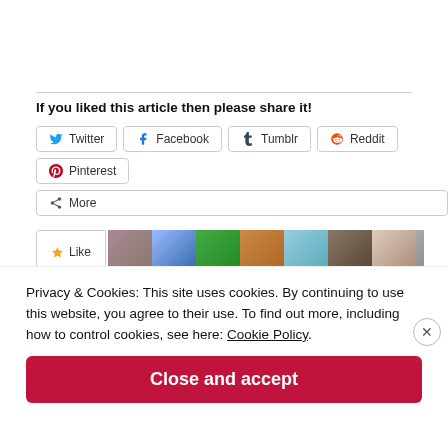If you liked this article then please share it!
[Figure (screenshot): Row of social share buttons: Twitter, Facebook, Tumblr, Reddit, Pinterest, More]
[Figure (screenshot): Like button with star icon followed by a strip of user avatar thumbnails]
Privacy & Cookies: This site uses cookies. By continuing to use this website, you agree to their use. To find out more, including how to control cookies, see here: Cookie Policy
Close and accept